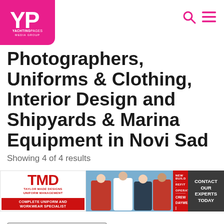[Figure (logo): Yachting Pages Media Group logo — pink/magenta square with YP letters and text below]
Photographers, Uniforms & Clothing, Interior Design and Shipyards & Marina Equipment in Novi Sad
Showing 4 of 4 results
[Figure (infographic): Taylor Made Designs advertisement banner — uniform management specialist with crew uniform imagery]
Relevancy
List Map Refine